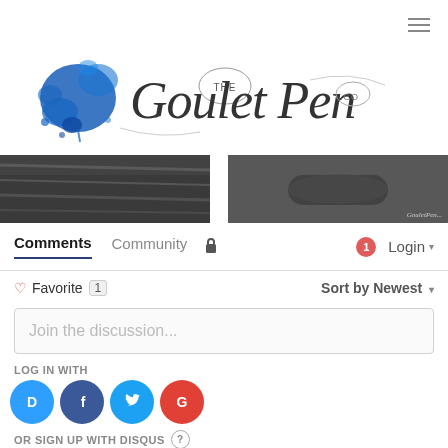[Figure (logo): The Goulet Pen Co. logo with blue ink splash and decorative script lettering]
[Figure (photo): Two cropped images of pen/writing related photography side by side]
Comments   Community   🔒   1  Login ▾
♡ Favorite  1   Sort by Newest ▾
Join the discussion...
LOG IN WITH
[Figure (logo): Social login icons: Disqus (D), Facebook (f), Twitter bird, Google (G)]
OR SIGN UP WITH DISQUS ?